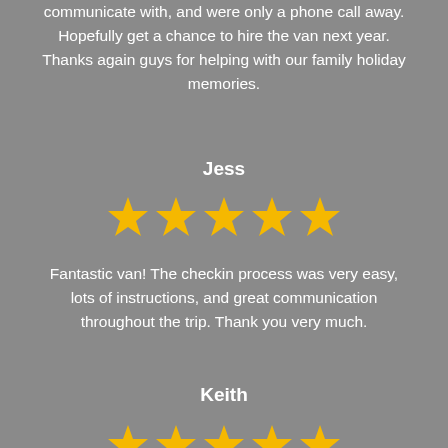communicate with, and were only a phone call away. Hopefully get a chance to hire the van next year. Thanks again guys for helping with our family holiday memories.
Jess
[Figure (other): Five golden/yellow star rating icons]
Fantastic van! The checkin process was very easy, lots of instructions, and great communication throughout the trip. Thank you very much.
Keith
[Figure (other): Five golden/yellow star rating icons (partially shown at bottom)]